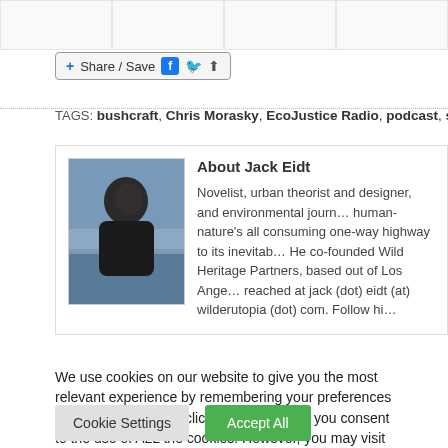[Figure (screenshot): Partial thumbnail images visible at top of page]
+ Share / Save
TAGS: bushcraft, Chris Morasky, EcoJustice Radio, podcast, stone age ski...
About Jack Eidt
[Figure (photo): Headshot photo of Jack Eidt outdoors with ocean/sky background]
Novelist, urban theorist and designer, and environmental journ... human-nature's all consuming one-way highway to its inevitab... He co-founded Wild Heritage Partners, based out of Los Ange... reached at jack (dot) eidt (at) wilderutopia (dot) com. Follow hi... @JackEidt
We use cookies on our website to give you the most relevant experience by remembering your preferences and repeat visits. By clicking "Accept All", you consent to the use of ALL the cookies. However, you may visit "Cookie Settings" to provide a controlled consent.
Cookie Settings
Accept All